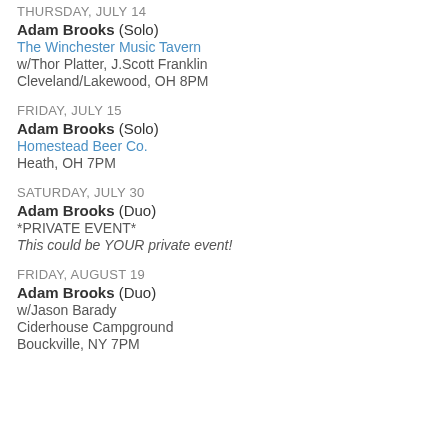THURSDAY, JULY 14
Adam Brooks (Solo)
The Winchester Music Tavern
w/Thor Platter, J.Scott Franklin
Cleveland/Lakewood, OH 8PM
FRIDAY, JULY 15
Adam Brooks (Solo)
Homestead Beer Co.
Heath, OH 7PM
SATURDAY, JULY 30
Adam Brooks (Duo)
*PRIVATE EVENT*
This could be YOUR private event!
FRIDAY, AUGUST 19
Adam Brooks (Duo)
w/Jason Barady
Ciderhouse Campground
Bouckville, NY 7PM